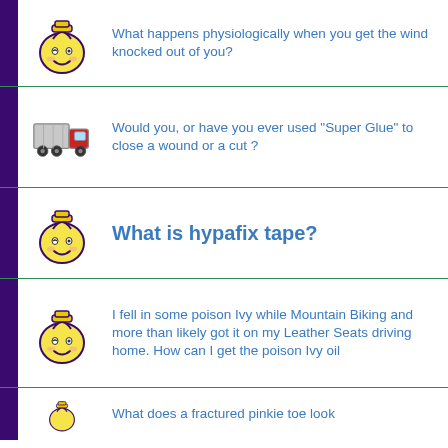What happens physiologically when you get the wind knocked out of you?
Would you, or have you ever used "Super Glue" to close a wound or a cut ?
What is hypafix tape?
I fell in some poison Ivy while Mountain Biking and more than likely got it on my Leather Seats driving home. How can I get the poison Ivy oil
What does a fractured pinkie toe look